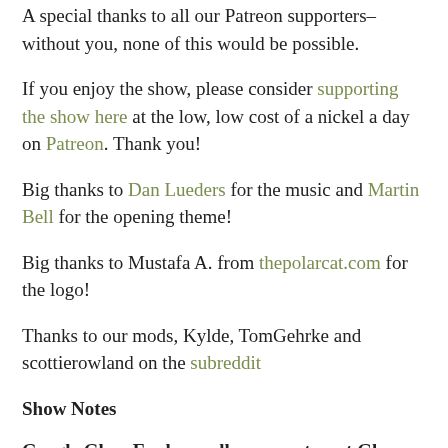A special thanks to all our Patreon supporters–without you, none of this would be possible.
If you enjoy the show, please consider supporting the show here at the low, low cost of a nickel a day on Patreon. Thank you!
Big thanks to Dan Lueders for the music and Martin Bell for the opening theme!
Big thanks to Mustafa A. from thepolarcat.com for the logo!
Thanks to our mods, Kylde, TomGehrke and scottierowland on the subreddit
Show Notes
Google Glass Explorer allows user to put Glass hardware in prescription lenses: The Verge reports Google's Glass